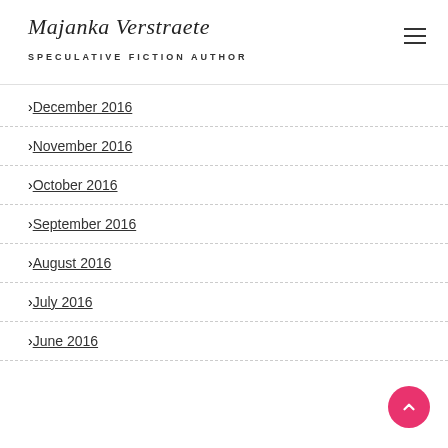Majanka Verstraete — SPECULATIVE FICTION AUTHOR
December 2016
November 2016
October 2016
September 2016
August 2016
July 2016
June 2016